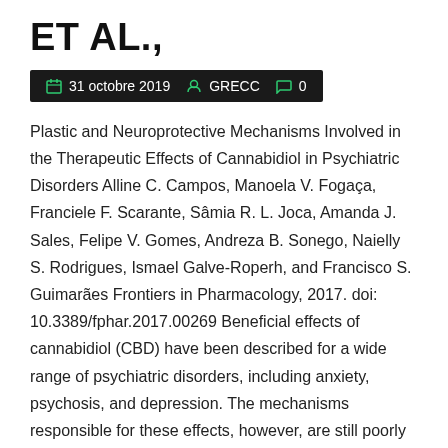ET AL.,
31 octobre 2019   GRECC   0
Plastic and Neuroprotective Mechanisms Involved in the Therapeutic Effects of Cannabidiol in Psychiatric Disorders Alline C. Campos, Manoela V. Fogaça, Franciele F. Scarante, Sâmia R. L. Joca, Amanda J. Sales, Felipe V. Gomes, Andreza B. Sonego, Naielly S. Rodrigues, Ismael Galve-Roperh, and Francisco S. Guimarães Frontiers in Pharmacology, 2017. doi: 10.3389/fphar.2017.00269 Beneficial effects of cannabidiol (CBD) have been described for a wide range of psychiatric disorders, including anxiety, psychosis, and depression. The mechanisms responsible for these effects, however, are still poorly understood. Similar to clinical antidepressant or atypical antipsychotic drugs, recent findings clearly